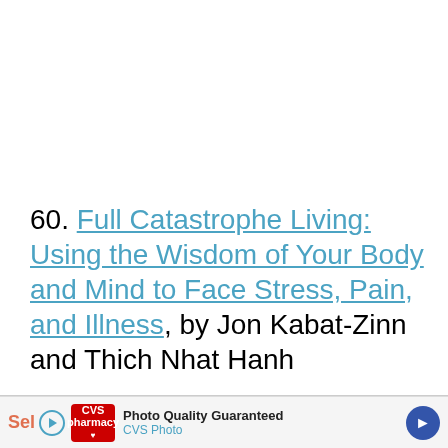60. Full Catastrophe Living: Using the Wisdom of Your Body and Mind to Face Stress, Pain, and Illness, by Jon Kabat-Zinn and Thich Nhat Hanh
[Figure (other): Advertisement banner for CVS Photo with 'Photo Quality Guaranteed' text and CVS Photo branding, with navigation arrow]